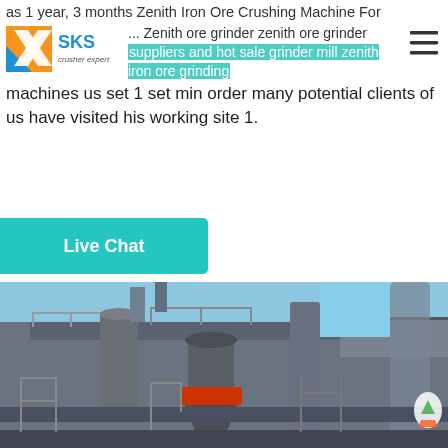as 1 year, 3 months Zenith Iron Ore Crushing Machine For Sale SKS ... Zenith ore grinder zenith ore grinder suppliers and hot sale grinder mill zenith iron ore grinding machines us set 1 set min order many potential clients of us have visited his working site 1.
Live Chat
[Figure (photo): Industrial iron ore crushing/grinding machinery facility with metal platforms, railings, large cylindrical cone crusher equipment, and pipes against a blue sky.]